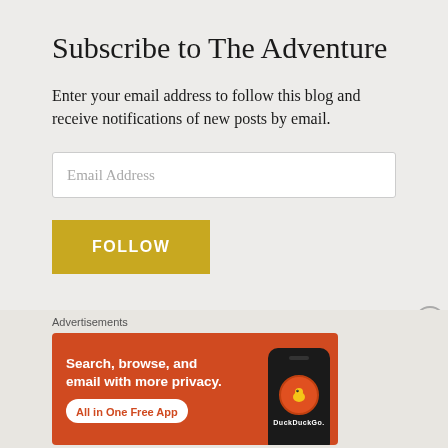Subscribe to The Adventure
Enter your email address to follow this blog and receive notifications of new posts by email.
[Figure (screenshot): Email address input field with placeholder text 'Email Address']
[Figure (screenshot): Yellow FOLLOW button]
Advertisements
[Figure (infographic): DuckDuckGo advertisement banner with orange background. Text reads: 'Search, browse, and email with more privacy. All in One Free App' with DuckDuckGo logo and phone image.]